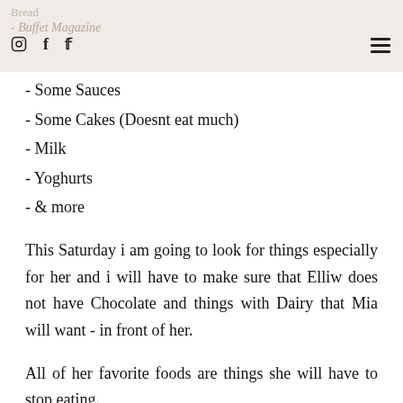Bread - Buffet Magazine
- Some Sauces
- Some Cakes (Doesnt eat much)
- Milk
- Yoghurts
- & more
This Saturday i am going to look for things especially for her and i will have to make sure that Elliw does not have Chocolate and things with Dairy that Mia will want - in front of her.
All of her favorite foods are things she will have to stop eating.